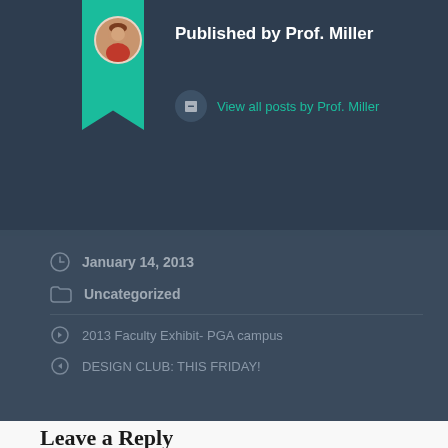Published by Prof. Miller
View all posts by Prof. Miller
January 14, 2013
Uncategorized
2013 Faculty Exhibit- PGA campus
DESIGN CLUB: THIS FRIDAY!
Leave a Reply
Your email address will not be published. Required fields are marked